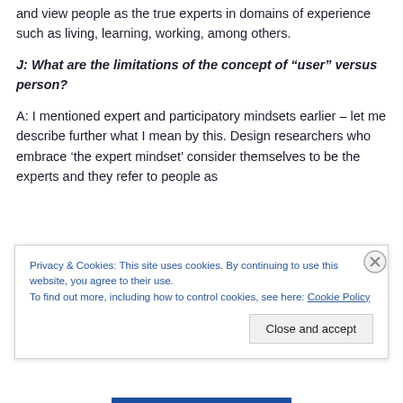and view people as the true experts in domains of experience such as living, learning, working, among others.
J: What are the limitations of the concept of “user” versus person?
A: I mentioned expert and participatory mindsets earlier – let me describe further what I mean by this. Design researchers who embrace ‘the expert mindset’ consider themselves to be the experts and they refer to people as
Privacy & Cookies: This site uses cookies. By continuing to use this website, you agree to their use.
To find out more, including how to control cookies, see here: Cookie Policy
Close and accept